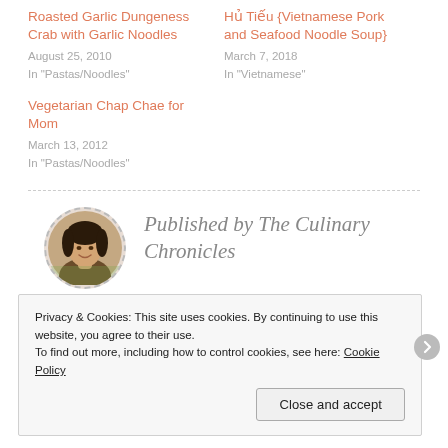Roasted Garlic Dungeness Crab with Garlic Noodles
August 25, 2010
In "Pastas/Noodles"
Hủ Tiếu {Vietnamese Pork and Seafood Noodle Soup}
March 7, 2018
In "Vietnamese"
Vegetarian Chap Chae for Mom
March 13, 2012
In "Pastas/Noodles"
[Figure (photo): Circular profile photo of a smiling woman with dark hair, outdoors]
Published by The Culinary Chronicles
Privacy & Cookies: This site uses cookies. By continuing to use this website, you agree to their use.
To find out more, including how to control cookies, see here: Cookie Policy
Close and accept